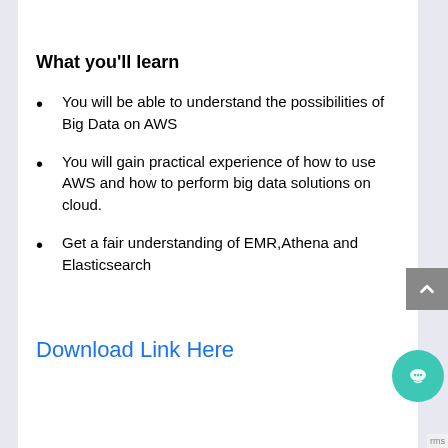What you'll learn
You will be able to understand the possibilities of Big Data on AWS
You will gain practical experience of how to use AWS and how to perform big data solutions on cloud.
Get a fair understanding of EMR,Athena and Elasticsearch
Download Link Here